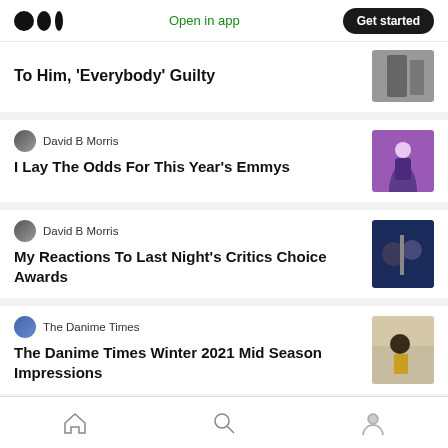Medium logo | Open in app | Get started
To Him, 'Everybody' Guilty
David B Morris
I Lay The Odds For This Year's Emmys
David B Morris
My Reactions To Last Night's Critics Choice Awards
The Danime Times
The Danime Times Winter 2021 Mid Season Impressions
Home | Search | Profile